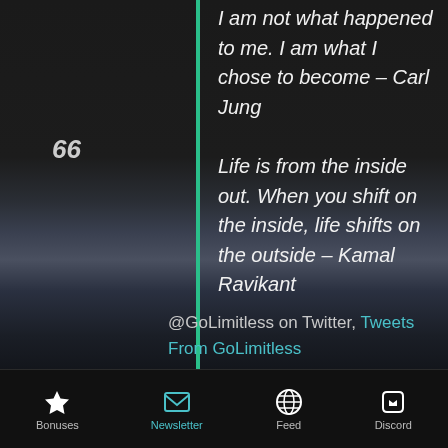66
I am not what happened to me. I am what I chose to become – Carl Jung
Life is from the inside out. When you shift on the inside, life shifts on the outside – Kamal Ravikant
@GoLimitless on Twitter, Tweets From GoLimitless
Bonuses | Newsletter | Feed | Discord